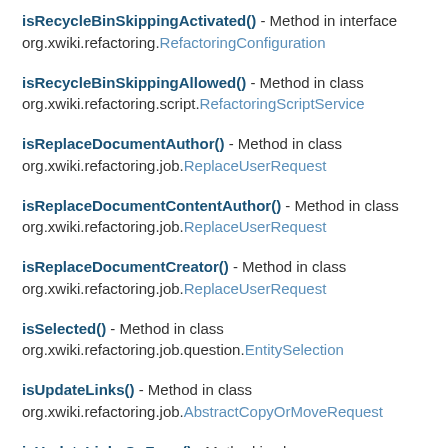isRecycleBinSkippingActivated() - Method in interface org.xwiki.refactoring.RefactoringConfiguration
isRecycleBinSkippingAllowed() - Method in class org.xwiki.refactoring.script.RefactoringScriptService
isReplaceDocumentAuthor() - Method in class org.xwiki.refactoring.job.ReplaceUserRequest
isReplaceDocumentContentAuthor() - Method in class org.xwiki.refactoring.job.ReplaceUserRequest
isReplaceDocumentCreator() - Method in class org.xwiki.refactoring.job.ReplaceUserRequest
isSelected() - Method in class org.xwiki.refactoring.job.question.EntitySelection
isUpdateLinks() - Method in class org.xwiki.refactoring.job.AbstractCopyOrMoveRequest
isUpdateLinksOnFarm() - Method in class org.xwiki.refactoring.job.AbstractCopyOrMoveRequest
isUpdateParentField() - Method in class org.xwiki.refactoring.job.MoveRequest